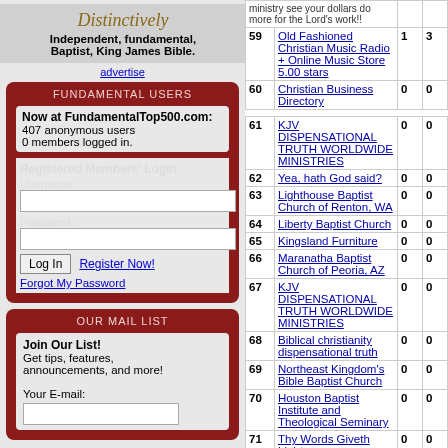[Figure (other): Advertisement box with 'Distinctively' text and tagline: Independent, fundamental, Baptist, King James Bible.]
advertise
FUNDAMENTAL USERS
Now at FundamentalTop500.com:
407 anonymous users
0 members logged in.
Registered Members' Login:
Username:
Password:
Log In | Register Now!
Forgot My Password
OUR MAIL LIST
Join Our List!
Get tips, features, announcements, and more!
Your E-mail:
| # | Site | In | Out |
| --- | --- | --- | --- |
|  | ministry see your dollars do more for the Lord's work!! |  |  |
| 59 | Old Fashioned Christian Music Radio + Online Music Store 5.00 stars | 1 | 3 |
| 60 | Christian Business Directory | 0 | 0 |
| 61 | KJV DISPENSATIONAL TRUTH WORLDWIDE MINISTRIES | 0 | 0 |
| 62 | Yea, hath God said? | 0 | 0 |
| 63 | Lighthouse Baptist Church of Renton, WA | 0 | 0 |
| 64 | Liberty Baptist Church | 0 | 0 |
| 65 | Kingsland Furniture | 0 | 0 |
| 66 | Maranatha Baptist Church of Peoria, AZ | 0 | 0 |
| 67 | KJV DISPENSATIONAL TRUTH WORLDWIDE MINISTRIES | 0 | 0 |
| 68 | Biblical christianity dispensational truth | 0 | 0 |
| 69 | Northeast Kingdom's Bible Baptist Church | 0 | 0 |
| 70 | Houston Baptist Institute and Theological Seminary | 0 | 0 |
| 71 | Thy Words Giveth Light | 0 | 0 |
| 72 | Bible Baptist Church of Pulaski, TN | 0 | 0 |
| 73 | Liberty Baptist Church & Academy | 0 | 0 |
| 74 | FAITH Christian Jewelry | 0 | 0 |